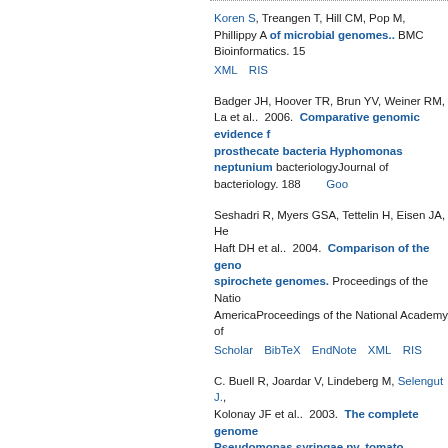Koren S, Treangen T, Hill CM, Pop M, Phillippy A. Bambus 2: scaffolding of microbial genomes.. BMC Bioinformatics. 15 XML RIS
Badger JH, Hoover TR, Brun YV, Weiner RM, La et al.. 2006. Comparative genomic evidence for prosthecate bacteria Hyphomonas neptunium bacteriologyJournal of bacteriology. 188 Goo
Seshadri R, Myers GSA, Tettelin H, Eisen JA, He Haft DH et al.. 2004. Comparison of the geno spirochete genomes. Proceedings of the Natio AmericaProceedings of the National Academy of Google Scholar BibTeX EndNote XML RIS
C. Buell R, Joardar V, Lindeberg M, Selengut J., Kolonay JF et al.. 2003. The complete genome Pseudomonas syringae pv. tomato DC3000. P States of AmericaProceedings of the National Ac 100 Google Scholar BibTeX EndNote XML
Haft DH, Paulsen IT, Ward N, Selengut J.. 2006. environmental organisms: the PEP-CTERM/E heuristic. BMC biologyBMC biology. 4 Goo